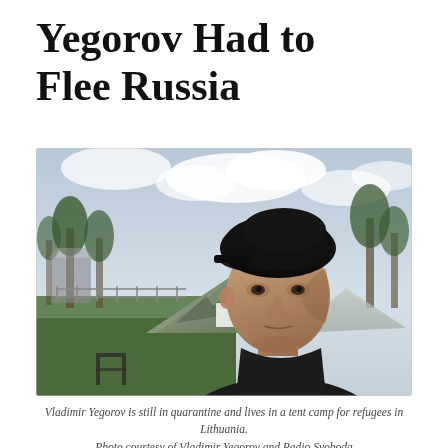Yegorov Had to Flee Russia
[Figure (photo): A man (Vladimir Yegorov) taking a selfie outdoors at a tent camp. He wears a dark cap and dark jacket. Behind him are military-style camouflage tents, a fence, and trees under a cloudy sky.]
Vladimir Yegorov is still in quarantine and lives in a tent camp for refugees in Lithuania. Photo courtesy of Vladimir Yegorov and Radio Svoboda